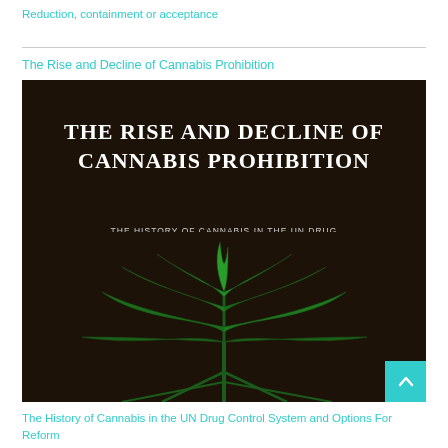Reduction, containment or acceptance
[Figure (illustration): Book cover for 'The Rise and Decline of Cannabis Prohibition: The History of Cannabis in the UN Drug Control System and Options for Reform'. Dark brown/black background with a cannabis plant in the lower portion. White title text in uppercase serif font, smaller uppercase subtitle text in gray below.]
The History of Cannabis in the UN Drug Control System and Options For Reform